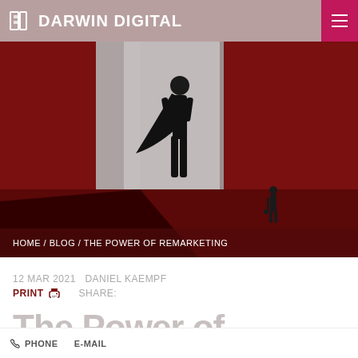DARWIN DIGITAL
[Figure (illustration): Stylized dark illustration on deep red background: a tall silhouetted superhero figure with a flowing cape stands in a doorway of grey/white light on the left; a small solitary figure stands far right on the dark red floor.]
HOME / BLOG / THE POWER OF REMARKETING
12 MAR 2021  DANIEL KAEMPF
PRINT  SHARE:
The Power of